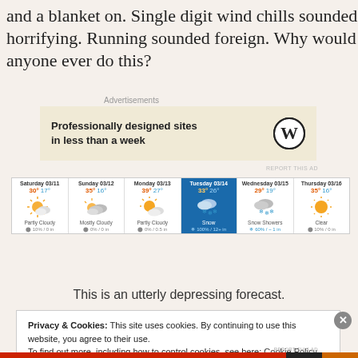and a blanket on. Single digit wind chills sounded horrifying. Running sounded foreign. Why would anyone ever do this?
Advertisements
[Figure (screenshot): WordPress advertisement: 'Professionally designed sites in less than a week' with WordPress logo]
[Figure (screenshot): Weather forecast widget showing 6 days: Saturday 03/11 (30°/17°, Partly Cloudy, 10%/0in), Sunday 03/12 (35°/16°, Mostly Cloudy, 0%/0in), Monday 03/13 (39°/27°, Partly Cloudy, 0%/0.5in), Tuesday 03/14 highlighted (33°/26°, Snow, 100%/12+in), Wednesday 03/15 (29°/19°, Snow Showers, 60%/~1in), Thursday 03/16 (35°/16°, Clear, 10%/0in)]
This is an utterly depressing forecast.
Privacy & Cookies: This site uses cookies. By continuing to use this website, you agree to their use. To find out more, including how to control cookies, see here: Cookie Policy
Close and accept